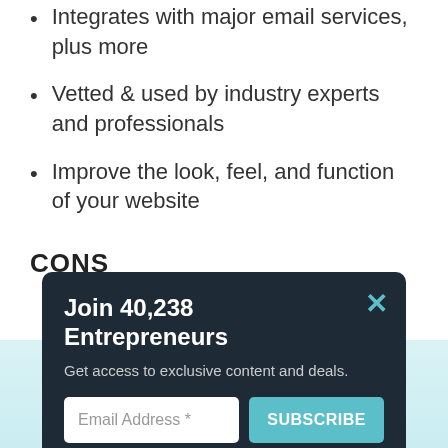Integrates with major email services, plus more
Vetted & used by industry experts and professionals
Improve the look, feel, and function of your website
CONS
[Figure (screenshot): Email subscription modal popup with dark background. Title: 'Join 40,238 Entrepreneurs', subtitle: 'Get access to exclusive content and deals.', an email input field with placeholder 'Email Address *', and a teal SUBSCRIBE button. A teal X close button is in the top right corner.]